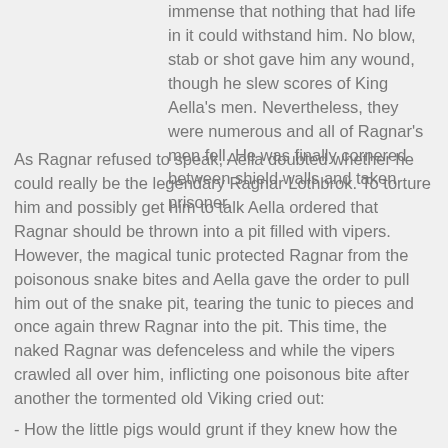immense that nothing that had life in it could withstand him. No blow, stab or shot gave him any wound, though he slew scores of King Aella's men. Nevertheless, they were numerous and all of Ragnar's men fell. He was finally cornered between shield walls and taken prisoner.
As Ragnar refused to speak, Aella doubted whether he could really be the legendary Ragnar Lothbrok. To torture him and possibly get him to talk Aella ordered that Ragnar should be thrown into a pit filled with vipers. However, the magical tunic protected Ragnar from the poisonous snake bites and Aella gave the order to pull him out of the snake pit, tearing the tunic to pieces and once again threw Ragnar into the pit. This time, the naked Ragnar was defenceless and while the vipers crawled all over him, inflicting one poisonous bite after another the tormented old Viking cried out:
- How the little pigs would grunt if they knew how the